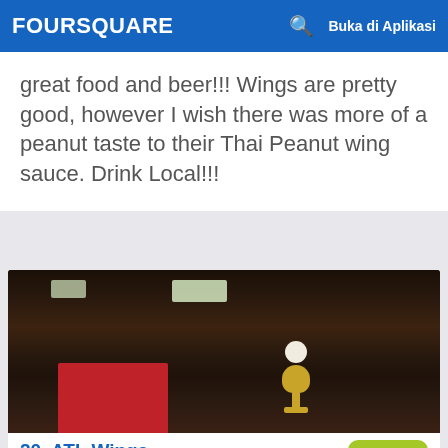FOURSQUARE  Buka di Aplikasi
great food and beer!!! Wings are pretty good, however I wish there was more of a peanut taste to their Thai Peanut wing sauce. Drink Local!!!
[Figure (photo): Interior photo of ATL Wings restaurant showing dark ceiling, overhead lights, red counter partition, and a trophy with chicken figure on the counter]
20. ATL Wings
3923 E Thomas Rd, Phoenix, AZ
7.3